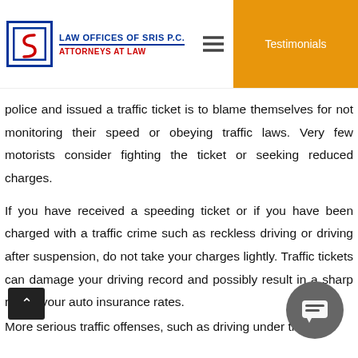LAW OFFICES OF SRIS P.C. ATTORNEYS AT LAW | Testimonials
police and issued a traffic ticket is to blame themselves for not monitoring their speed or obeying traffic laws. Very few motorists consider fighting the ticket or seeking reduced charges.
If you have received a speeding ticket or if you have been charged with a traffic crime such as reckless driving or driving after suspension, do not take your charges lightly.
Traffic tickets can damage your driving record and possibly result in a sharp rise in your auto insurance rates. More serious traffic offenses, such as driving under the